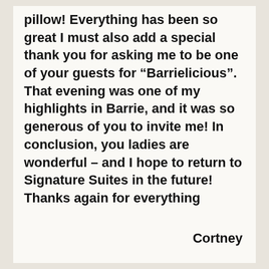pillow! Everything has been so great I must also add a special thank you for asking me to be one of your guests for “Barrielicious”. That evening was one of my highlights in Barrie, and it was so generous of you to invite me! In conclusion, you ladies are wonderful – and I hope to return to Signature Suites in the future! Thanks again for everything
Cortney